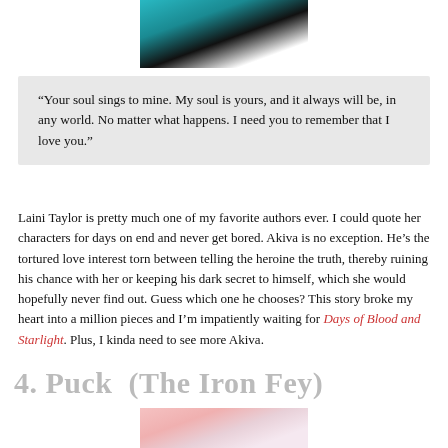[Figure (photo): Top portion of a figure with teal/blue colored hair against dark background]
“Your soul sings to mine. My soul is yours, and it always will be, in any world. No matter what happens. I need you to remember that I love you.”
Laini Taylor is pretty much one of my favorite authors ever. I could quote her characters for days on end and never get bored. Akiva is no exception. He’s the tortured love interest torn between telling the heroine the truth, thereby ruining his chance with her or keeping his dark secret to himself, which she would hopefully never find out. Guess which one he chooses? This story broke my heart into a million pieces and I’m impatiently waiting for Days of Blood and Starlight. Plus, I kinda need to see more Akiva.
4. Puck  (The Iron Fey)
[Figure (photo): Bottom portion of a figure showing a close-up of a face with pale skin and sparkles, pink tones]